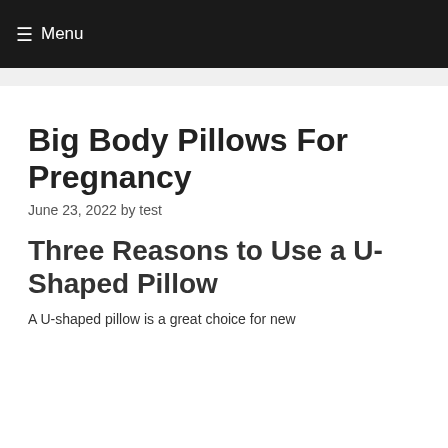☰ Menu
Big Body Pillows For Pregnancy
June 23, 2022 by test
Three Reasons to Use a U-Shaped Pillow
A U-shaped pillow is a great choice for new